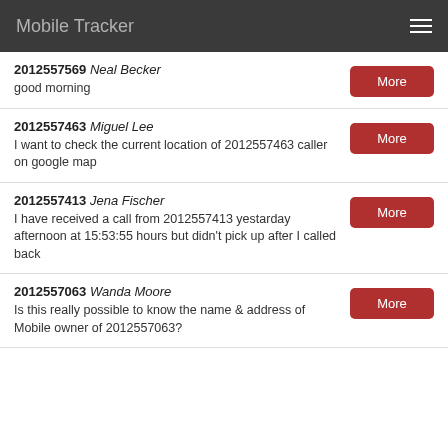Mobile Tracker
2012557569 Neal Becker
good morning
2012557463 Miguel Lee
I want to check the current location of 2012557463 caller on google map
2012557413 Jena Fischer
I have received a call from 2012557413 yestarday afternoon at 15:53:55 hours but didn't pick up after I called back
2012557063 Wanda Moore
Is this really possible to know the name & address of Mobile owner of 2012557063?